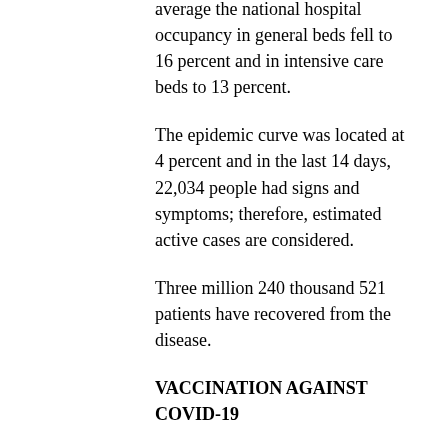average the national hospital occupancy in general beds fell to 16 percent and in intensive care beds to 13 percent.
The epidemic curve was located at 4 percent and in the last 14 days, 22,034 people had signs and symptoms; therefore, estimated active cases are considered.
Three million 240 thousand 521 patients have recovered from the disease.
VACCINATION AGAINST COVID-19
Currently, the people who have the complete vaccination scheme are 64 million 922 thousand 896. While 11 million 687 thousand 091 received a new scheme.
The above represented 86 percent of the